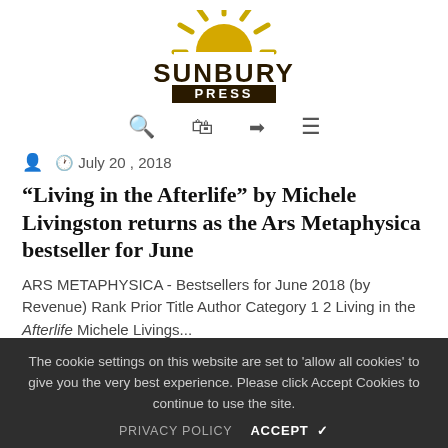[Figure (logo): Sunbury Press logo: golden sun with rays above bold text 'SUNBURY' and 'PRESS' on dark banner]
Search  Bag  Login  Menu icons
July 20 , 2018
“Living in the Afterlife” by Michele Livingston returns as the Ars Metaphysica bestseller for June
ARS METAPHYSICA - Bestsellers for June 2018 (by Revenue) Rank Prior Title Author Category 1 2 Living in the Afterlife Michele Livings...
The cookie settings on this website are set to 'allow all cookies' to give you the very best experience. Please click Accept Cookies to continue to use the site.
PRIVACY POLICY   ACCEPT  ✓